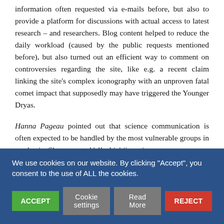information often requested via e-mails before, but also to provide a platform for discussions with actual access to latest research – and researchers. Blog content helped to reduce the daily workload (caused by the public requests mentioned before), but also turned out an efficient way to comment on controversies regarding the site, like e.g. a recent claim linking the site's complex iconography with an unproven fatal comet impact that supposedly may have triggered the Younger Dryas.
Hanna Pageau pointed out that science communication is often expected to be handled by the most vulnerable groups in academia. She promoted 'allyship' (in action, not words, i.e. senior) as an important strategy for...
We use cookies on our website. By clicking "Accept", you consent to the use of ALL the cookies.